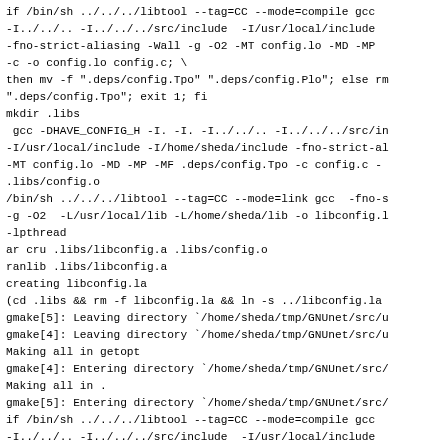if /bin/sh ../../../libtool --tag=CC --mode=compile gcc -I../../../.. -I../../../src/include -I/usr/local/include -fno-strict-aliasing -Wall -g -O2 -MT config.lo -MD -MP -c -o config.lo config.c; \
then mv -f ".deps/config.Tpo" ".deps/config.Plo"; else rm ".deps/config.Tpo"; exit 1; fi
mkdir .libs
 gcc -DHAVE_CONFIG_H -I. -I. -I../../.. -I../../../src/include -I/usr/local/include -I/home/sheda/include -fno-strict-aliasing -MT config.lo -MD -MP -MF .deps/config.Tpo -c config.c -o .libs/config.o
/bin/sh ../../../libtool --tag=CC --mode=link gcc  -fno-strict-aliasing -g -O2  -L/usr/local/lib -L/home/sheda/lib -o libconfig.la -lpthread
ar cru .libs/libconfig.a .libs/config.o
ranlib .libs/libconfig.a
creating libconfig.la
(cd .libs && rm -f libconfig.la && ln -s ../libconfig.la
gmake[5]: Leaving directory `/home/sheda/tmp/GNUnet/src/u
gmake[4]: Leaving directory `/home/sheda/tmp/GNUnet/src/u
Making all in getopt
gmake[4]: Entering directory `/home/sheda/tmp/GNUnet/src/
Making all in .
gmake[5]: Entering directory `/home/sheda/tmp/GNUnet/src/
if /bin/sh ../../../libtool --tag=CC --mode=compile gcc -I../../../.. -I../../../src/include -I/usr/local/include -fno-strict-aliasing -Wall -g -O2 -MT getopt.lo -MD -MP -c -o getopt.lo getopt.c; \
then mv -f ".deps/getopt.Tpo" ".deps/getopt.Plo"; else rm ".deps/getopt.Tpo"; exit 1; fi
mkdir .libs